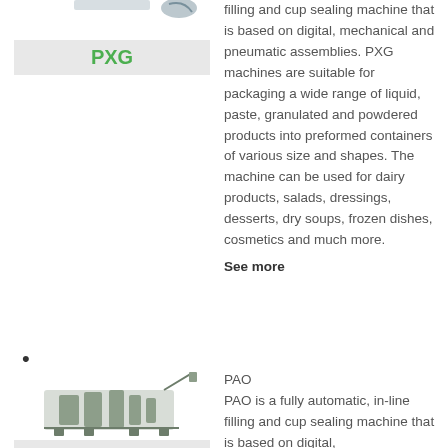[Figure (illustration): PXG filling and cup sealing machine product image with label PXG on grey background]
filling and cup sealing machine that is based on digital, mechanical and pneumatic assemblies. PXG machines are suitable for packaging a wide range of liquid, paste, granulated and powdered products into preformed containers of various size and shapes. The machine can be used for dairy products, salads, dressings, desserts, dry soups, frozen dishes, cosmetics and much more.
See more
•
[Figure (illustration): PAO fully automatic in-line filling and cup sealing machine product image with label PAO on grey background]
PAO
PAO is a fully automatic, in-line filling and cup sealing machine that is based on digital,